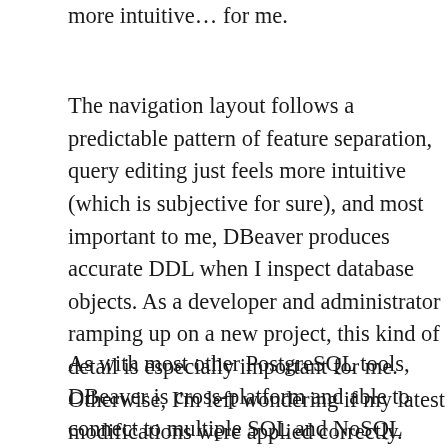more intuitive… for me.
The navigation layout follows a predictable pattern of feature separation, query editing just feels more intuitive (which is subjective for sure), and most important to me, DBeaver produces accurate DDL when I inspect database objects. As a developer and administrator ramping up on a new project, this kind of detail is especially important for me. Otherwise, I'm left wondering if my latest modifications were applied correctly.
As with most other PostgreSQL tools, DBeaver is cross-platform and able to connect to multiple SQL and NoSQL databases. I can't currently speak to its performance on other databases, although I will be